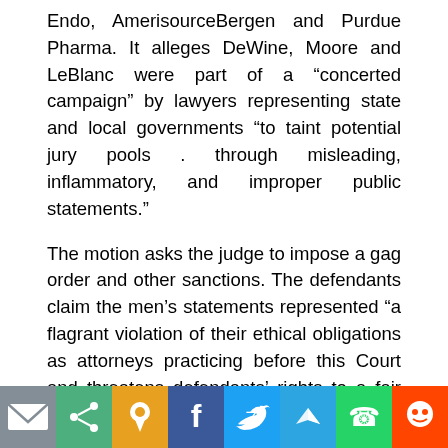Endo, AmerisourceBergen and Purdue Pharma. It alleges DeWine, Moore and LeBlanc were part of a “concerted campaign” by lawyers representing state and local governments “to taint potential jury pools . through misleading, inflammatory, and improper public statements.”
The motion asks the judge to impose a gag order and other sanctions. The defendants claim the men’s statements represented “a flagrant violation of their ethical obligations as attorneys practicing before this Court and threatens defendants’ rights to a fair adjudication of the claims asserted against them.”
Attorney General’s Office spokesman Dan Tierney told The Associated Press in an email Saturday night that Dew...
[Figure (infographic): Social media share bar with icons: pin (orange), Facebook (blue), Twitter (blue), Telegram (light blue), WhatsApp (green), Reddit (orange-red), email (gray), share (teal-green)]